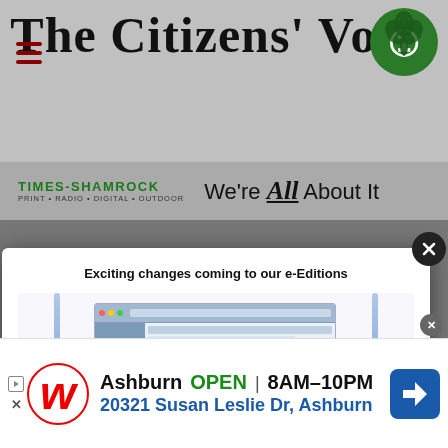The Citizens' Voice
[Figure (logo): Times-Shamrock logo with green shamrock and text: TIMES-SHAMROCK PRINT · RADIO · DIGITAL · OUTDOOR — We're All About It]
[Figure (screenshot): Modal popup showing 'Exciting changes coming to our e-Editions' with redesigned interface screenshots, arrows pointing to 'Redesigned Fresh new look', 'Navigation Easier, cleaner exploration', and 'New buttons']
[Figure (screenshot): Video popup overlay titled 'Blake Lively Just Made a Case for Cap-Sl...' showing a woman in a colorful dress with mute button and close button]
[Figure (photo): Advertisement for Walgreens: Ashburn OPEN 8AM-10PM, 20321 Susan Leslie Dr, Ashburn with navigation icon]